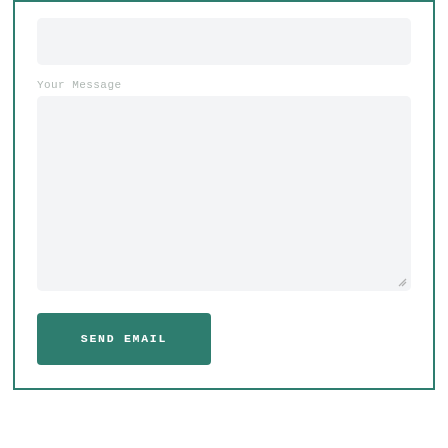Your Message
[Figure (screenshot): A web contact form showing an empty text input field at top, a 'Your Message' label, a large empty textarea below, a resize handle at bottom-right of textarea, and a teal 'SEND EMAIL' button at the bottom left. The entire form is enclosed in a teal border.]
SEND EMAIL